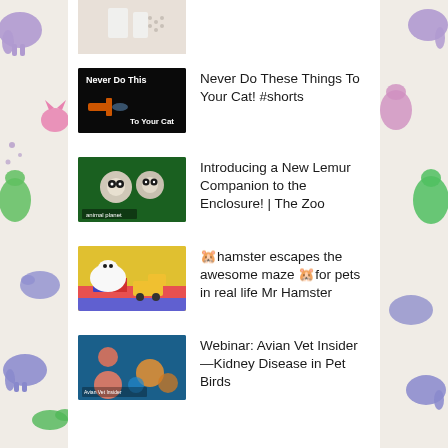[Figure (screenshot): Partial thumbnail at top (cut off) - light colored background with small objects]
Never Do These Things To Your Cat! #shorts
Introducing a New Lemur Companion to the Enclosure! | The Zoo
🐹hamster escapes the awesome maze 🐹for pets in real life Mr Hamster
Webinar: Avian Vet Insider—Kidney Disease in Pet Birds